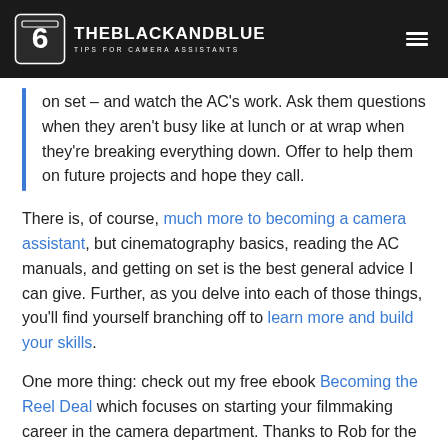THEBLACKANDBLUE — TIPS FOR CAMERA ASSISTANTS
on set – and watch the AC's work. Ask them questions when they aren't busy like at lunch or at wrap when they're breaking everything down. Offer to help them on future projects and hope they call.
There is, of course, much more to becoming a camera assistant, but cinematography basics, reading the AC manuals, and getting on set is the best general advice I can give. Further, as you delve into each of those things, you'll find yourself branching off to learn more and build your skills.
One more thing: check out my free ebook Becoming the Reel Deal which focuses on starting your filmmaking career in the camera department. Thanks to Rob for the interview!